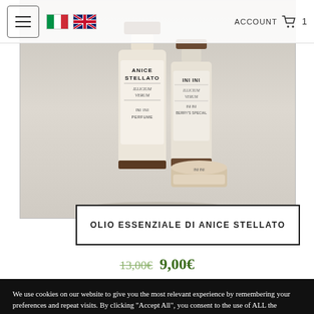ACCOUNT  🛒 1
[Figure (photo): Product photo showing two small glass bottles/jars labeled ANICE STELLATO on a light grey background]
OLIO ESSENZIALE DI ANICE STELLATO
13,00€  9,00€
We use cookies on our website to give you the most relevant experience by remembering your preferences and repeat visits. By clicking "Accept All", you consent to the use of ALL the cookies. However, you may visit 'Cookie Settings' to provide a controlled consent.
Cookie Settings  Read More
Cookie Settings   Accept   Reject All